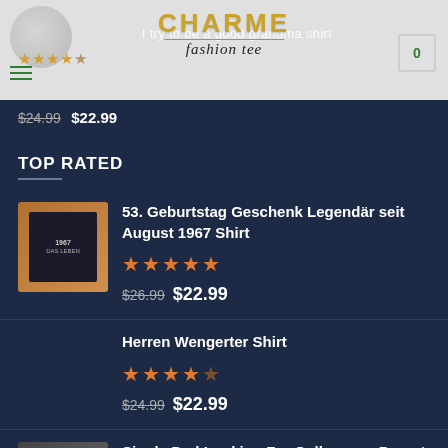Charme Fashion Tee — I try to be a good grandma shirt — Cart: 0
$24.99  $22.99
TOP RATED
53. Geburtstag Geschenk Legendär seit August 1967 Shirt — Rating: 5 stars — $26.99  $22.99
Herren Wengerter Shirt — Rating: 4.5 stars — $24.99  $22.99
Single Dad Looking For Colleagues Parent Lone Father Daddy Shirt — Rating: 3.5 stars